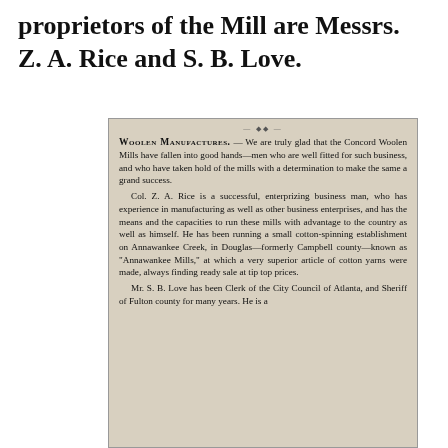proprietors of the Mill are Messrs. Z. A. Rice and S. B. Love.
[Figure (photo): Scanned newspaper clipping about Woolen Manufactures, discussing the Concord Woolen Mills and its proprietors Col. Z. A. Rice and Mr. S. B. Love.]